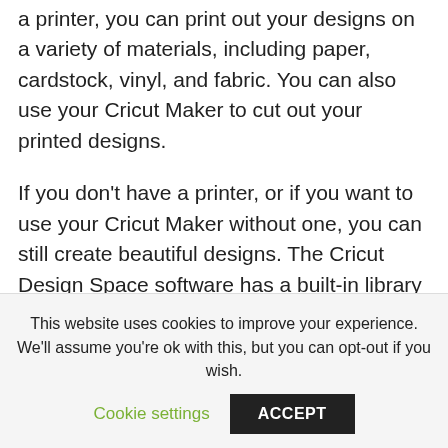a printer, you can print out your designs on a variety of materials, including paper, cardstock, vinyl, and fabric. You can also use your Cricut Maker to cut out your printed designs.
If you don't have a printer, or if you want to use your Cricut Maker without one, you can still create beautiful designs. The Cricut Design Space software has a built-in library of ready-to-use images, fonts, and templates. You can also upload your own images and designs to use with your Cricut Maker...
This website uses cookies to improve your experience. We'll assume you're ok with this, but you can opt-out if you wish.
Cookie settings | ACCEPT